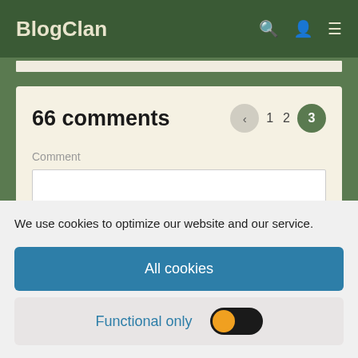BlogClan
66 comments
Comment
We use cookies to optimize our website and our service.
All cookies
Functional only